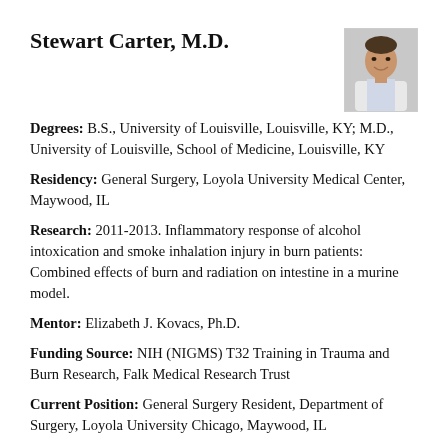Stewart Carter, M.D.
[Figure (photo): Headshot photo of Stewart Carter, M.D., a young man in a white coat]
Degrees: B.S., University of Louisville, Louisville, KY; M.D., University of Louisville, School of Medicine, Louisville, KY
Residency: General Surgery, Loyola University Medical Center, Maywood, IL
Research: 2011-2013. Inflammatory response of alcohol intoxication and smoke inhalation injury in burn patients: Combined effects of burn and radiation on intestine in a murine model.
Mentor: Elizabeth J. Kovacs, Ph.D.
Funding Source: NIH (NIGMS) T32 Training in Trauma and Burn Research, Falk Medical Research Trust
Current Position: General Surgery Resident, Department of Surgery, Loyola University Chicago, Maywood, IL
Mitchell Chaar, M.D.
[Figure (photo): Headshot photo of Mitchell Chaar, M.D.]